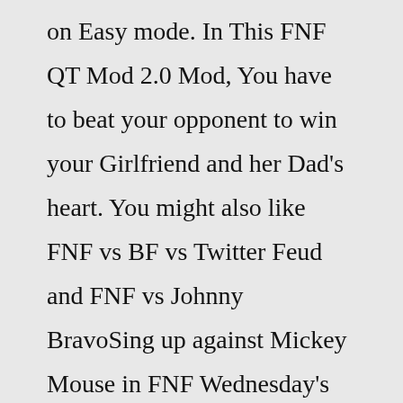on Easy mode. In This FNF QT Mod 2.0 Mod, You have to beat your opponent to win your Girlfriend and her Dad's heart. You might also like FNF vs BF vs Twitter Feud and FNF vs Johnny BravoSing up against Mickey Mouse in FNF Wednesday's Infidelity, a mod for Friday Night Funkin' with an old-fashioned cartoon style in black and white. On a beautiful sunny wednesday morning Mickey discovered Minnie falling